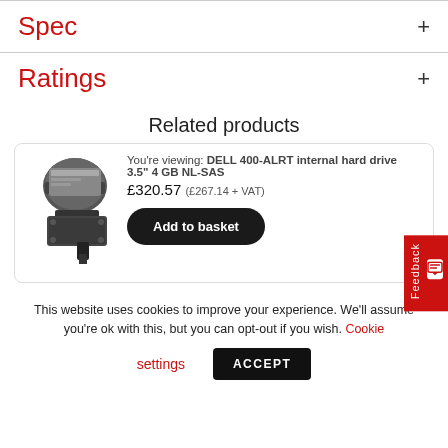Spec
Ratings
Related products
[Figure (photo): DELL 400-ALRT internal hard drive product image]
You're viewing: DELL 400-ALRT internal hard drive 3.5" 4 GB NL-SAS
£320.57 (£267.14 + VAT)
Add to basket
This website uses cookies to improve your experience. We'll assume you're ok with this, but you can opt-out if you wish. Cookie settings ACCEPT